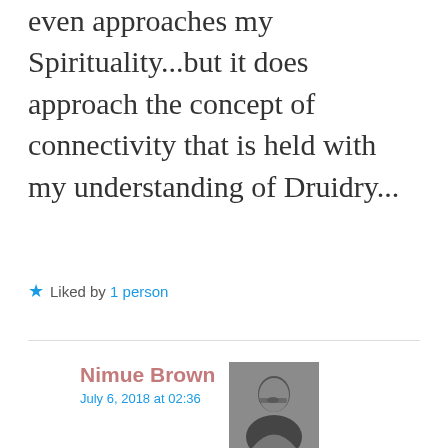even approaches my Spirituality...but it does approach the concept of connectivity that is held with my understanding of Druidry...
★ Liked by 1 person
Nimue Brown
July 6, 2018 at 02:36
[Figure (photo): Black and white photo of Nimue Brown, a woman with glasses and long dark hair, looking down]
And it enables honourable action and encourages wisdom... lots of good druid stuff